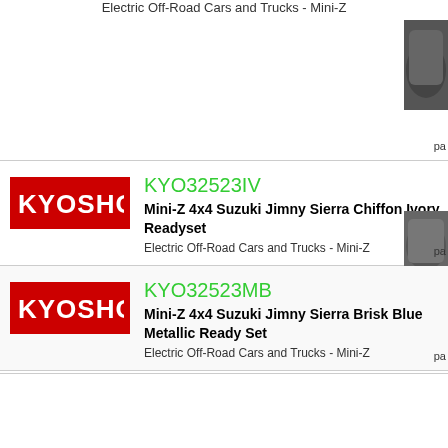Electric Off-Road Cars and Trucks - Mini-Z
KYO32523IV
Mini-Z 4x4 Suzuki Jimny Sierra Chiffon Ivory Readyset
Electric Off-Road Cars and Trucks - Mini-Z
KYO32523MB
Mini-Z 4x4 Suzuki Jimny Sierra Brisk Blue Metallic Ready Set
Electric Off-Road Cars and Trucks - Mini-Z